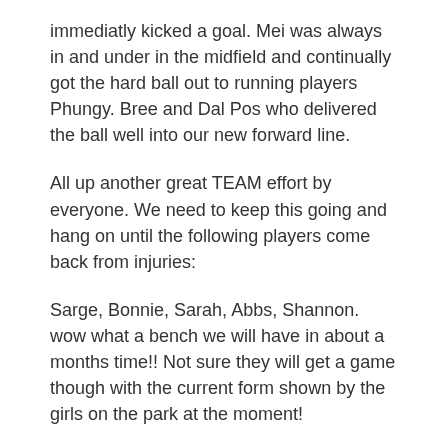immediatly kicked a goal. Mei was always in and under in the midfield and continually got the hard ball out to running players Phungy. Bree and Dal Pos who delivered the ball well into our new forward line.
All up another great TEAM effort by everyone. We need to keep this going and hang on until the following players come back from injuries:
Sarge, Bonnie, Sarah, Abbs, Shannon. wow what a bench we will have in about a months time!! Not sure they will get a game though with the current form shown by the girls on the park at the moment!